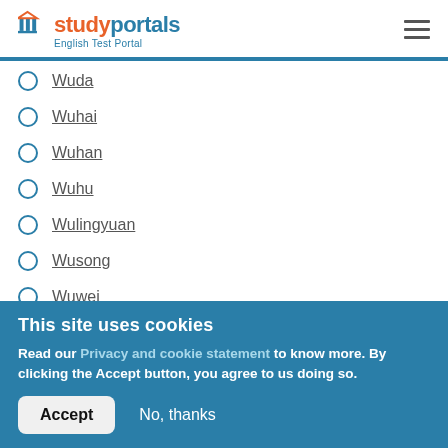studyportals English Test Portal
Wuda
Wuhai
Wuhan
Wuhu
Wulingyuan
Wusong
Wuwei
This site uses cookies
Read our Privacy and cookie statement to know more. By clicking the Accept button, you agree to us doing so.
Accept   No, thanks